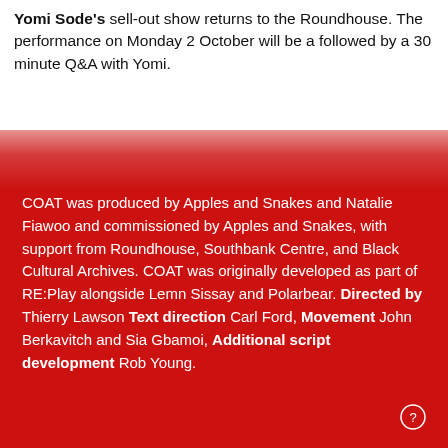Yomi Sode's sell-out show returns to the Roundhouse. The performance on Monday 2 October will be a followed by a 30 minute Q&A with Yomi.
COAT was produced by Apples and Snakes and Natalie Fiawoo and commissioned by Apples and Snakes, with support from Roundhouse, Southbank Centre, and Black Cultural Archives. COAT was originally developed as part of RE:Play alongside Lemn Sissay and Polarbear. Directed by Thierry Lawson Text direction Carl Ford, Movement John Berkavitch and Sia Gbamoi, Additional script development Rob Young.